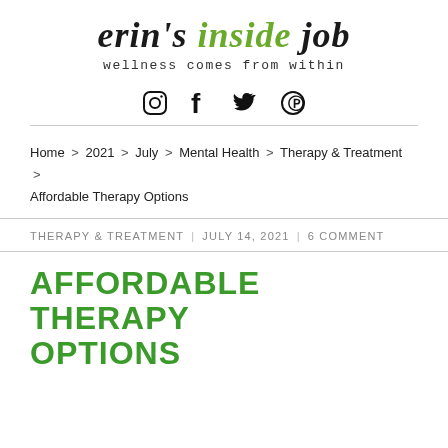[Figure (logo): Erin's Inside Job blog logo with decorative hand-drawn black lettering for 'erin's' and 'job', and green decorative lettering for 'inside', with tagline 'wellness comes from within']
[Figure (infographic): Social media icons: Instagram (circle camera), Facebook (f), Twitter (bird), Pinterest (circle P)]
Home > 2021 > July > Mental Health > Therapy & Treatment > Affordable Therapy Options
THERAPY & TREATMENT | JULY 14, 2021 | 6 COMMENT
AFFORDABLE THERAPY OPTIONS